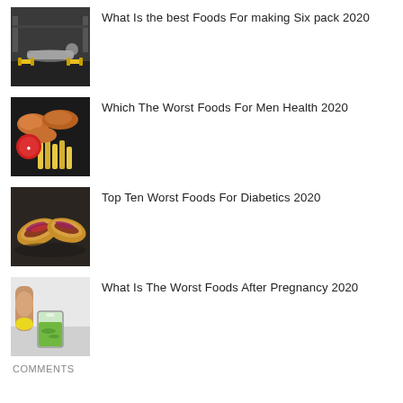What Is the best Foods For making Six pack 2020
Which The Worst Foods For Men Health 2020
Top Ten Worst Foods For Diabetics 2020
What Is The Worst Foods After Pregnancy 2020